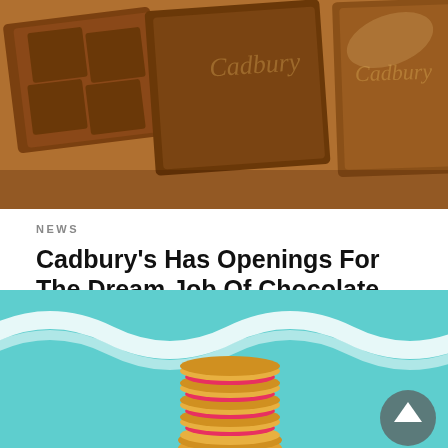[Figure (photo): Close-up photo of Cadbury chocolate bar squares with script Cadbury branding embossed on each piece]
NEWS
Cadbury’s Has Openings For The Dream Job Of Chocolate Tester
As children, we all dreamed of drinking from the chocolate river in Willy Wonka’s factory and fantasized about the day…
5 years ago
[Figure (photo): Stack of colorful sandwich cookies with pink cream filling on a teal/mint blue background with white garland decoration]